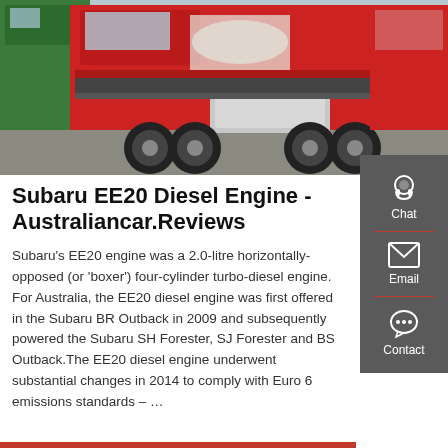[Figure (photo): Photograph of red heavy-duty trucks parked in a lot, showing the undercarriage and large tires of semi-truck tractors]
Subaru EE20 Diesel Engine - Australiancar.Reviews
Subaru's EE20 engine was a 2.0-litre horizontally-opposed (or 'boxer') four-cylinder turbo-diesel engine. For Australia, the EE20 diesel engine was first offered in the Subaru BR Outback in 2009 and subsequently powered the Subaru SH Forester, SJ Forester and BS Outback.The EE20 diesel engine underwent substantial changes in 2014 to comply with Euro 6 emissions standards – …